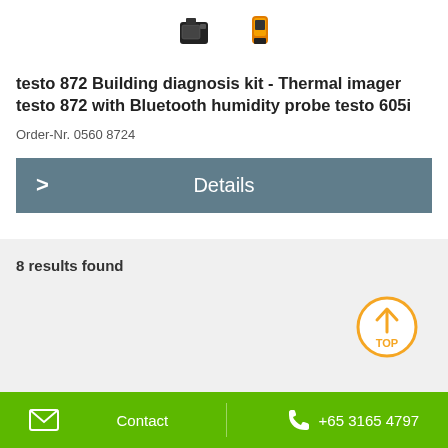[Figure (photo): Two product images: testo 872 thermal imager (black device) and testo 605i Bluetooth humidity probe (orange/black device)]
testo 872 Building diagnosis kit - Thermal imager testo 872 with Bluetooth humidity probe testo 605i
Order-Nr. 0560 8724
Details
8 results found
Contact  +65 3165 4797